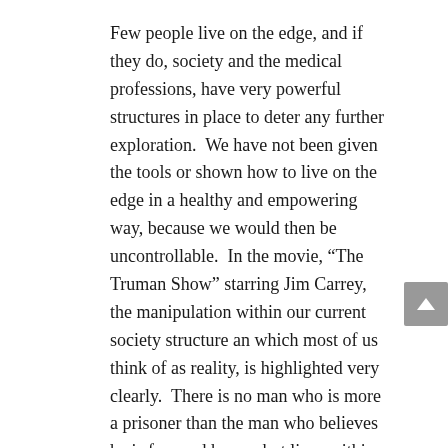Few people live on the edge, and if they do, society and the medical professions, have very powerful structures in place to deter any further exploration.  We have not been given the tools or shown how to live on the edge in a healthy and empowering way, because we would then be uncontrollable.  In the movie, “The Truman Show” starring Jim Carrey, the manipulation within our current society structure an which most of us think of as reality, is highlighted very clearly.  There is no man who is more a prisoner than the man who believes he is free and happy, but lives within a prison.  What one believes is what one will see and experience. This does not mean that what one is experiencing is essentially TRUE however!
So how does one know whether one is being manipulated?  In ‘The Truman Show’ movie, the manipulation becomes clearer when the character begins to choose something